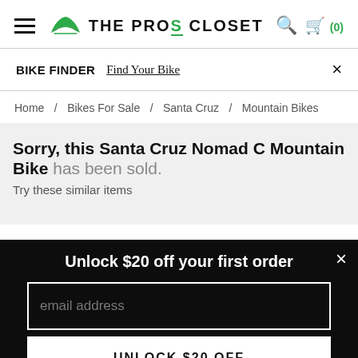THE PRO'S CLOSET — navigation header with hamburger menu, logo, search icon, cart (0)
BIKE FINDER  Find Your Bike  ×
Home / Bikes For Sale / Santa Cruz / Mountain Bikes
Sorry, this Santa Cruz Nomad C Mountain Bike has been sold.
Try these similar items
Unlock $20 off your first order
email address
UNLOCK $20 OFF
*Valid for one-time use on new accounts